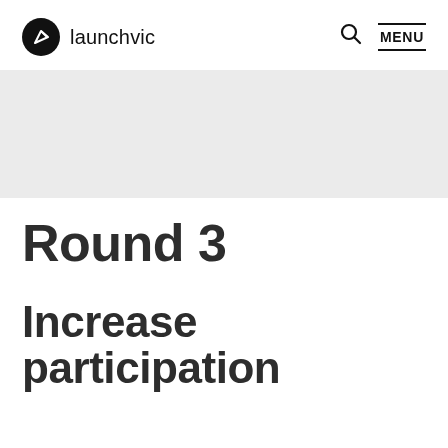launchvic
[Figure (illustration): Light grey rectangular placeholder banner image]
Round 3
Increase participation